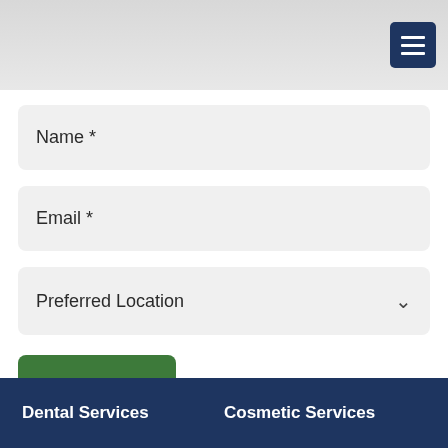[Figure (screenshot): Navigation header bar with hamburger menu button (three horizontal lines) on dark navy blue background in top-right corner]
Name *
Email *
Preferred Location
SUBMIT
Dental Services    Cosmetic Services